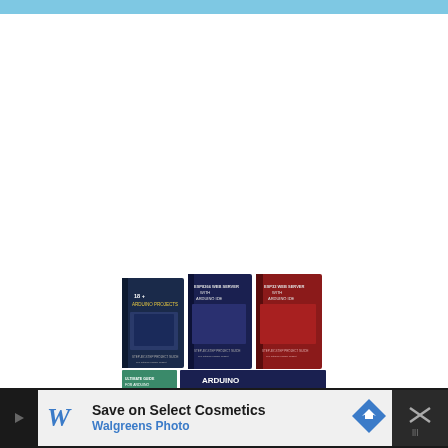[Figure (photo): Three book covers arranged together: '18+ Arduino Projects', 'ESP8266 Web Server with Arduino IDE', 'ESP32 Web Server with Arduino IDE', plus partially visible 'Ultimate Guide for Arduino Sensor Modules' and 'Arduino Mini Course' banner below]
[Figure (screenshot): Advertisement banner: Save on Select Cosmetics - Walgreens Photo, with a blue Walgreens cursive W logo, navigation arrow icon, and close/mute button on the right]